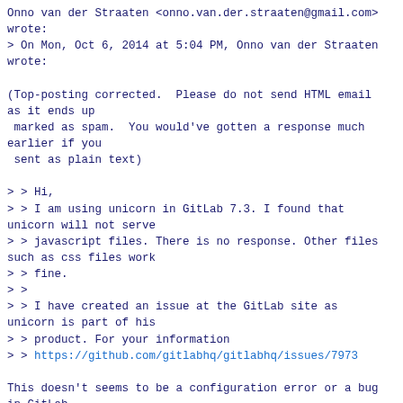Onno van der Straaten <onno.van.der.straaten@gmail.com> wrote:
> On Mon, Oct 6, 2014 at 5:04 PM, Onno van der Straaten wrote:

(Top-posting corrected.  Please do not send HTML email as it ends up
 marked as spam.  You would've gotten a response much earlier if you
 sent as plain text)

> > Hi,
> > I am using unicorn in GitLab 7.3. I found that unicorn will not serve
> > javascript files. There is no response. Other files such as css files work
> > fine.
> >
> > I have created an issue at the GitLab site as unicorn is part of his
> > product. For your information
> > https://github.com/gitlabhq/gitlabhq/issues/7973

This doesn't seems to be a configuration error or a bug in GitLab.
unicorn itself does not serve files, but just returns what Rack tells
it to do.

But since you're getting 60s timeouts, something seems